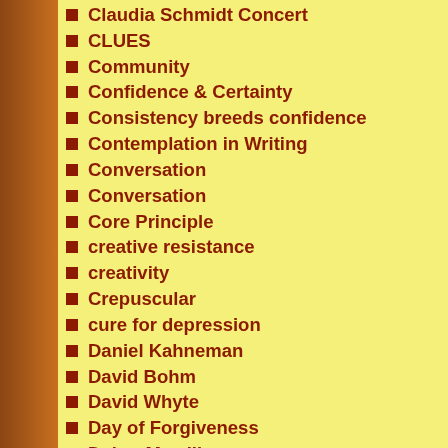Claudia Schmidt Concert
CLUES
Community
Confidence & Certainty
Consistency breeds confidence
Contemplation in Writing
Conversation
Conversation
Core Principle
creative resistance
creativity
Crepuscular
cure for depression
Daniel Kahneman
David Bohm
David Whyte
Day of Forgiveness
Debra Morrill
Deer Park
Dharma
Dialogue
Disappointment